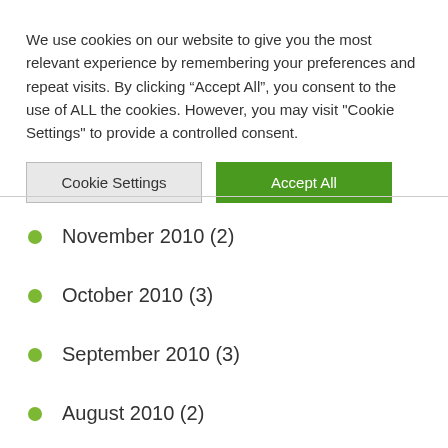We use cookies on our website to give you the most relevant experience by remembering your preferences and repeat visits. By clicking “Accept All”, you consent to the use of ALL the cookies. However, you may visit "Cookie Settings" to provide a controlled consent.
November 2010 (2)
October 2010 (3)
September 2010 (3)
August 2010 (2)
July 2010 (6)